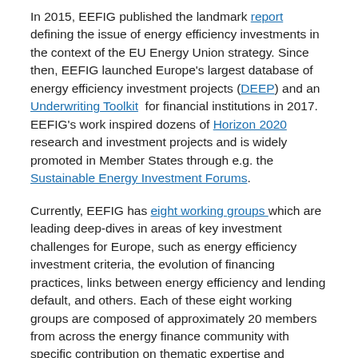In 2015, EEFIG published the landmark report defining the issue of energy efficiency investments in the context of the EU Energy Union strategy. Since then, EEFIG launched Europe's largest database of energy efficiency investment projects (DEEP) and an Underwriting Toolkit for financial institutions in 2017. EEFIG's work inspired dozens of Horizon 2020 research and investment projects and is widely promoted in Member States through e.g. the Sustainable Energy Investment Forums.
Currently, EEFIG has eight working groups which are leading deep-dives in areas of key investment challenges for Europe, such as energy efficiency investment criteria, the evolution of financing practices, links between energy efficiency and lending default, and others. Each of these eight working groups are composed of approximately 20 members from across the energy finance community with specific contribution on thematic expertise and knowledge development.